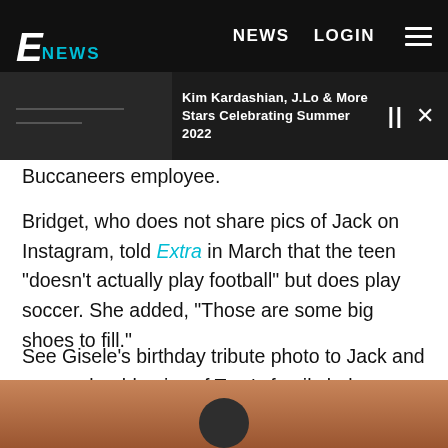[Figure (screenshot): E! News website navigation bar with logo, NEWS and LOGIN links, and hamburger menu]
[Figure (screenshot): Notification/ticker bar showing 'Kim Kardashian, J.Lo & More Stars Celebrating Summer 2022' with pause and close controls]
Buccaneers employee.
Bridget, who does not share pics of Jack on Instagram, told Extra in March that the teen "doesn't actually play football" but does play soccer. She added, "Those are some big shoes to fill."
See Gisele's birthday tribute photo to Jack and more adorable pics of Tom's family below:
[Figure (photo): Partial photo showing a person against a brown/orange background, partially cropped at bottom of page]